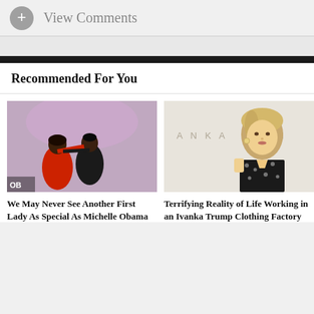View Comments
Recommended For You
[Figure (photo): Michelle Obama and Barack Obama dancing, Michelle in a red dress]
We May Never See Another First Lady As Special As Michelle Obama
[Figure (photo): Ivanka Trump standing in front of a backdrop reading IVANKA TRUMP, wearing a black floral dress]
Terrifying Reality of Life Working in an Ivanka Trump Clothing Factory